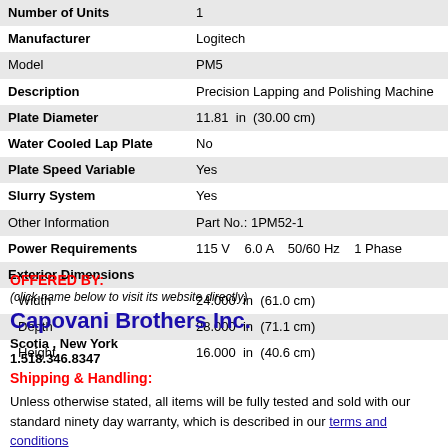| Number of Units | 1 |
| Manufacturer | Logitech |
| Model | PM5 |
| Description | Precision Lapping and Polishing Machine |
| Plate Diameter | 11.81  in  (30.00 cm) |
| Water Cooled Lap Plate | No |
| Plate Speed Variable | Yes |
| Slurry System | Yes |
| Other Information | Part No.: 1PM52-1 |
| Power Requirements | 115 V    6.0 A    50/60 Hz    1 Phase |
| Exterior Dimensions |  |
| Width | 24.000  in  (61.0 cm) |
| Depth | 28.000  in  (71.1 cm) |
| Height | 16.000  in  (40.6 cm) |
OFFERED BY:
(click name below to visit its website directly)
Capovani Brothers Inc.
Scotia , New York
1.518.346.8347
Shipping & Handling:
Unless otherwise stated, all items will be fully tested and sold with our standard ninety day warranty, which is described in our terms and conditions